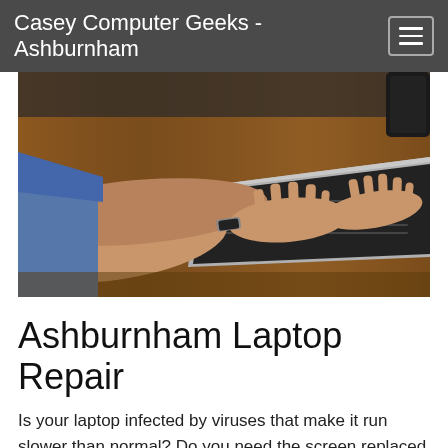Casey Computer Geeks - Ashburnham
[Figure (photo): Person's hands typing on a laptop keyboard on a wooden desk, viewed from above at an angle. The person is wearing a blue denim long-sleeve shirt and a watch. A dark phone is visible in the upper right corner.]
Ashburnham Laptop Repair
Is your laptop infected by viruses that make it run slower than normal? Do you need the screen replaced or repaired? It does no matter what technical difficulty you are encountering, at Casey